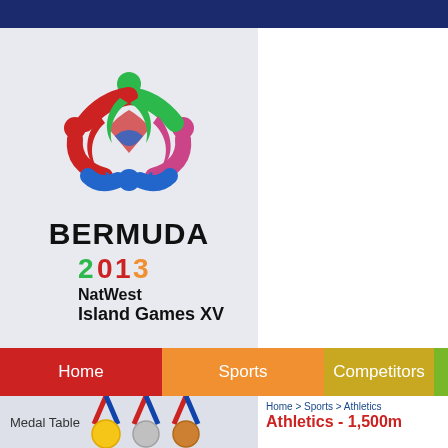[Figure (logo): Bermuda 2013 NatWest Island Games XV logo with colorful interconnected figure design on light grey background]
Home | Sports | Competitors
Medal Table
Home > Sports > Athletics
Athletics - 1,500m